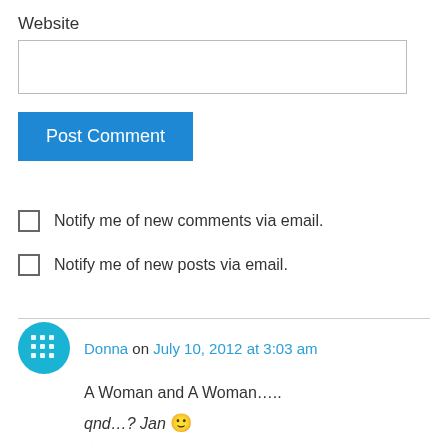Website
[Figure (other): Website text input field (empty)]
[Figure (other): Post Comment button (blue)]
Notify me of new comments via email.
Notify me of new posts via email.
Donna on July 10, 2012 at 3:03 am
A Woman and A Woman…..
qnd…? Jan 🙂
Like